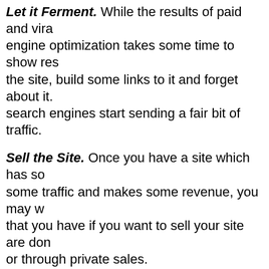Let it Ferment. While the results of paid and viral engine optimization takes some time to show results, the site, build some links to it and forget about it. search engines start sending a fair bit of traffic.
Sell the Site. Once you have a site which has some traffic and makes some revenue, you may want to sell it. The options that you have if you want to sell your site are domain auction sites or through private sales.
The Devil is in Details
As an entrepreneur, you have to remember that your profit = revenue - cost.
Profit = Revenue – Cost
Your objective is to maximize your profits and to do that you need to increase revenues and reduce your cost. The challenge is that building the site, creating content and promoting the site will have a cost which will affect how much cost you can sell it for.